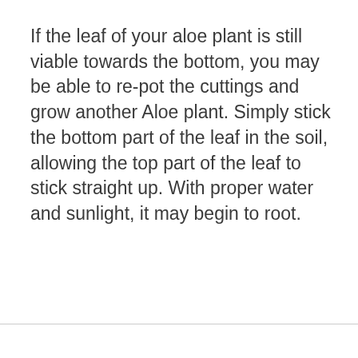If the leaf of your aloe plant is still viable towards the bottom, you may be able to re-pot the cuttings and grow another Aloe plant. Simply stick the bottom part of the leaf in the soil, allowing the top part of the leaf to stick straight up. With proper water and sunlight, it may begin to root.